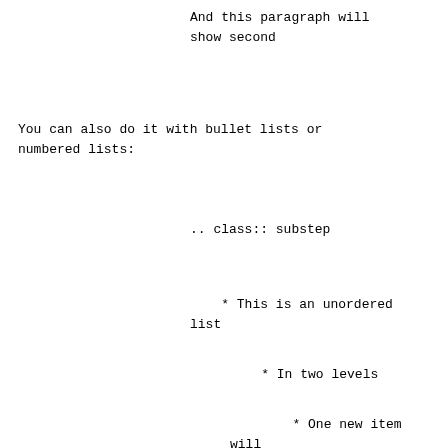And this paragraph will
show second
You can also do it with bullet lists or
numbered lists:
.. class:: substep
* This is an unordered
list
* In two levels
* One new item will
be shown on every <next>